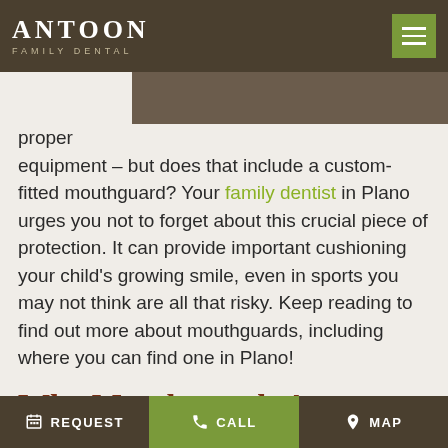ANTOON FAMILY DENTAL
proper equipment – but does that include a custom-fitted mouthguard? Your family dentist in Plano urges you not to forget about this crucial piece of protection. It can provide important cushioning your child's growing smile, even in sports you may not think are all that risky. Keep reading to find out more about mouthguards, including where you can find one in Plano!
Why Mouthguards Are Important
Sports injuries are the most common reason for
REQUEST   CALL   MAP